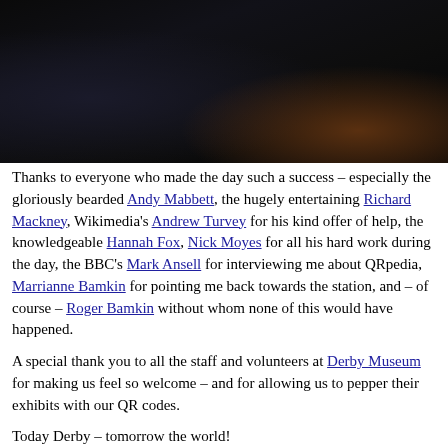[Figure (photo): Dark photograph, mostly black with some brown/amber tones visible at bottom right, appears to be a night or low-light scene.]
Thanks to everyone who made the day such a success – especially the gloriously bearded Andy Mabbett, the hugely entertaining Richard Mackney, Wikimedia's Andrew Turvey for his kind offer of help, the knowledgeable Hannah Fox, Nick Moyes for all his hard work during the day, the BBC's Mark Ansell for interviewing me about QRpedia, Marrianne Bamkin for pointing me back towards the station, and – of course – Roger Bamkin without whom none of this would have happened.
A special thank you to all the staff and volunteers at Derby Museum for making us feel so welcome – and for allowing us to pepper their exhibits with our QR codes.
Today Derby – tomorrow the world!
Posted in qr, qrpedia | Tagged derby, glamderby, glamwiki, qr,